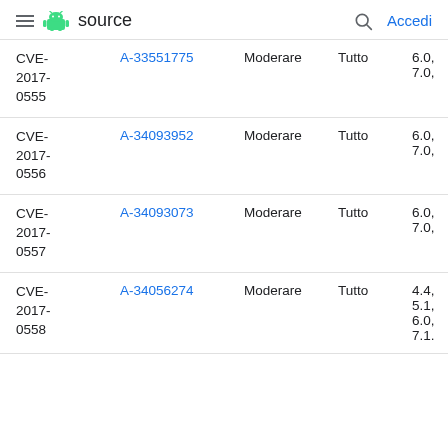≡ Android source   🔍 Accedi
| CVE | Riferimenti | Tipo | Gravità | Versioni aggiornate |
| --- | --- | --- | --- | --- |
| CVE-2017-0555 | A-33551775 | Moderare | Tutto | 6.0, 7.0, |
| CVE-2017-0556 | A-34093952 | Moderare | Tutto | 6.0, 7.0, |
| CVE-2017-0557 | A-34093073 | Moderare | Tutto | 6.0, 7.0, |
| CVE-2017-0558 | A-34056274 | Moderare | Tutto | 4.4, 5.1, 6.0, 7.1. |